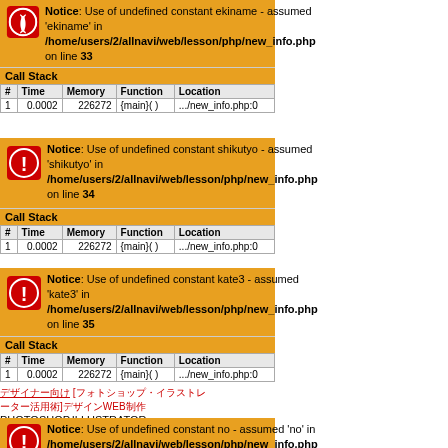[Figure (screenshot): PHP Notice error block: Use of undefined constant ekiname - assumed 'ekiname' in /home/users/2/allnavi/web/lesson/php/new_info.php on line 33, with Call Stack table]
| # | Time | Memory | Function | Location |
| --- | --- | --- | --- | --- |
| 1 | 0.0002 | 226272 | {main}( ) | .../new_info.php:0 |
[Figure (screenshot): PHP Notice error block: Use of undefined constant shikutyo - assumed 'shikutyo' in /home/users/2/allnavi/web/lesson/php/new_info.php on line 34, with Call Stack table]
| # | Time | Memory | Function | Location |
| --- | --- | --- | --- | --- |
| 1 | 0.0002 | 226272 | {main}( ) | .../new_info.php:0 |
[Figure (screenshot): PHP Notice error block: Use of undefined constant kate3 - assumed 'kate3' in /home/users/2/allnavi/web/lesson/php/new_info.php on line 35, with Call Stack table]
| # | Time | Memory | Function | Location |
| --- | --- | --- | --- | --- |
| 1 | 0.0002 | 226272 | {main}( ) | .../new_info.php:0 |
デザイナー向け [フォトショップ・イラストレーター活用術]デザインWEB制作 PHOTOSHOP,ILLUSTRATOR
[Figure (screenshot): PHP Notice error block: Use of undefined constant no - assumed 'no' in /home/users/2/allnavi/web/lesson/php/new_info.php on line 36 (partial)]